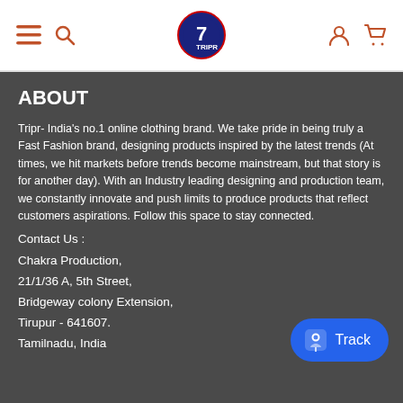TRIPR navigation bar with menu, search, logo, account, and cart icons
ABOUT
Tripr- India's no.1 online clothing brand. We take pride in being truly a Fast Fashion brand, designing products inspired by the latest trends (At times, we hit markets before trends become mainstream, but that story is for another day). With an Industry leading designing and production team, we constantly innovate and push limits to produce products that reflect customers aspirations. Follow this space to stay connected.
Contact Us :
Chakra Production,
21/1/36 A, 5th Street,
Bridgeway colony Extension,
Tirupur - 641607.
Tamilnadu, India
[Figure (other): Blue rounded Track button with a map/location pin icon]